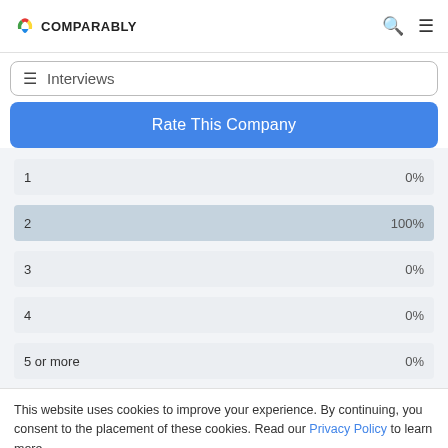COMPARABLY
≡ Interviews
Rate This Company
[Figure (bar-chart): Interview rounds distribution]
This website uses cookies to improve your experience. By continuing, you consent to the placement of these cookies. Read our Privacy Policy to learn more.
ACCEPT